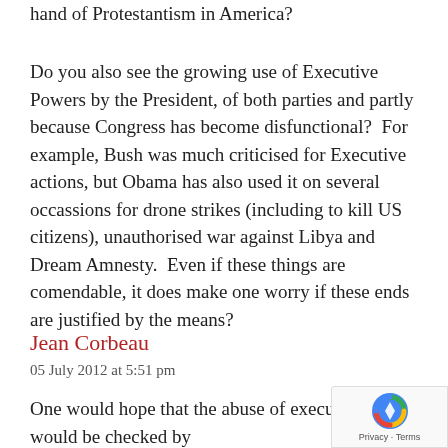hand of Protestantism in America?
Do you also see the growing use of Executive Powers by the President, of both parties and partly because Congress has become disfunctional?  For example, Bush was much criticised for Executive actions, but Obama has also used it on several occassions for drone strikes (including to kill US citizens), unauthorised war against Libya and Dream Amnesty.  Even if these things are comendable, it does make one worry if these ends are justified by the means?
Jean Corbeau
05 July 2012 at 5:51 pm
One would hope that the abuse of executive orders would be checked by